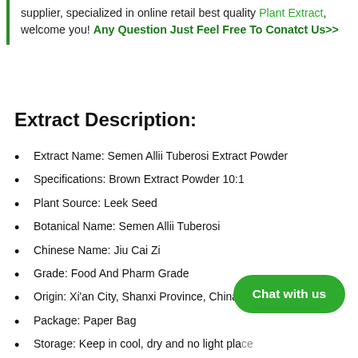supplier, specialized in online retail best quality Plant Extract, welcome you! Any Question Just Feel Free To Conatct Us>>
Extract Description:
Extract Name: Semen Allii Tuberosi Extract Powder
Specifications: Brown Extract Powder 10:1
Plant Source: Leek Seed
Botanical Name: Semen Allii Tuberosi
Chinese Name: Jiu Cai Zi
Grade: Food And Pharm Grade
Origin: Xi'an City, Shanxi Province, China
Package: Paper Bag
Storage: Keep in cool, dry and no light place
Manufacturing Date: Not older than 2 years from the date of order.
Expiry Date: Two years from the date of Manufacturing.